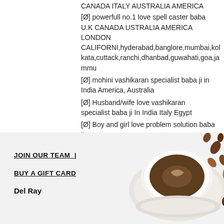CANADA ITALY AUSTRALIA AMERICA
[Ø] powerfull no.1 love spell caster baba U.K CANADA USTRALIA AMERICA LONDON CALIFORNI,hyderabad,banglore,mumbai,kolkata,cuttack,ranchi,dhanbad,guwahati,goa,jammu
[Ø] mohini vashikaran specialist baba ji in India America, Australia
[Ø] Husband/wife love vashikaran specialist baba ji In India Italy Egypt
[Ø] Boy and girl love problem solution baba ji
[Ø] Divorce problem solution Astrologer baba ji
[Ø] Love marriage problem solution baba ji
[Ø] Kala jadu tona totka specialist baba
[Figure (photo): Coffee cup with saucer and scattered coffee beans/nuts, top-down view, on white background, partially visible in bottom-right corner of page]
JOIN OUR TEAM |
BUY A GIFT CARD
Del Ray